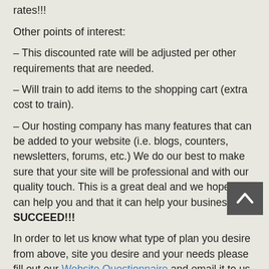rates!!!
Other points of interest:
– This discounted rate will be adjusted per other requirements that are needed.
– Will train to add items to the shopping cart (extra cost to train).
– Our hosting company has many features that can be added to your website (i.e. blogs, counters, newsletters, forums, etc.) We do our best to make sure that your site will be professional and with our quality touch. This is a great deal and we hope we can help you and that it can help your business SUCCEED!!!
In order to let us know what type of plan you desire from above, site you desire and your needs please fill out our Website Questionnaire and email it to us at: jerpatwebdesigns@gmail.com.